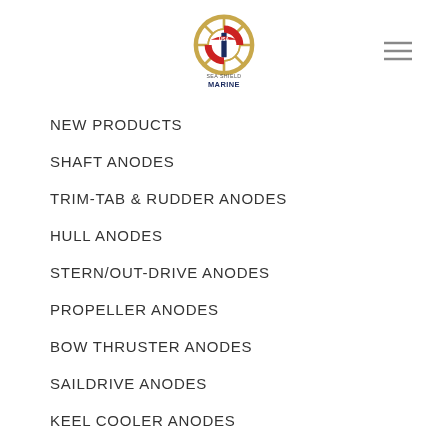[Figure (logo): Sea Shield Marine logo with ship wheel and life preserver, text reading SEA SHIELD MARINE]
NEW PRODUCTS
SHAFT ANODES
TRIM-TAB & RUDDER ANODES
HULL ANODES
STERN/OUT-DRIVE ANODES
PROPELLER ANODES
BOW THRUSTER ANODES
SAILDRIVE ANODES
KEEL COOLER ANODES